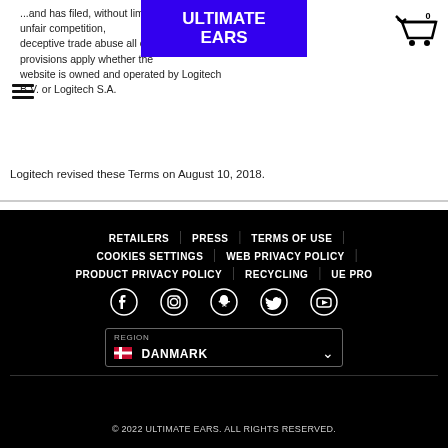...and has filed, without limitation, any claim of unfair competition, deceptive trade practices or false advertising; all of the foregoing provisions apply whether the website is owned and operated by Logitech B.V. or Logitech S.A.
Logitech revised these Terms on August 10, 2018.
[Figure (logo): Ultimate Ears logo — white bold text on blue/purple background]
RETAILERS
PRESS
TERMS OF USE
COOKIES SETTINGS
WEB PRIVACY POLICY
PRODUCT PRIVACY POLICY
RECYCLING
UE PRO
[Figure (infographic): Social media icons row: Facebook, Instagram, Snapchat, Twitter, YouTube]
REGION
DANMARK
© 2022 ULTIMATE EARS. ALL RIGHTS RESERVED.